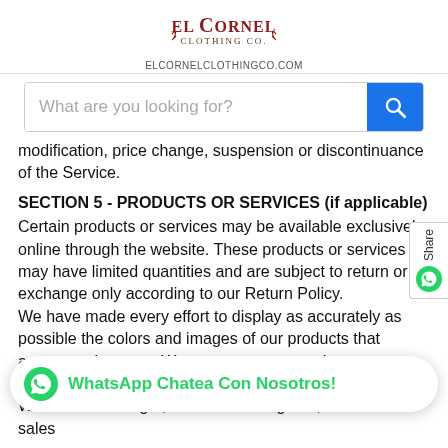[Figure (logo): El Cornel Clothing Co. logo with decorative text and tagline]
ELCORNELCLOTHINGCO.COM
[Figure (screenshot): Search bar with placeholder text 'What are you looking for?' and blue search button]
modification, price change, suspension or discontinuance of the Service.
SECTION 5 - PRODUCTS OR SERVICES (if applicable)
Certain products or services may be available exclusively online through the website. These products or services may have limited quantities and are subject to return or exchange only according to our Return Policy.
We have made every effort to display as accurately as possible the colors and images of our products that appear at the store. We cannot guarantee that your computer monitor's display of any color will be accurate.
We reserve the right, but are not obligated, to limit the sales
[Figure (infographic): Share tab on right side and WhatsApp chat button overlay at bottom]